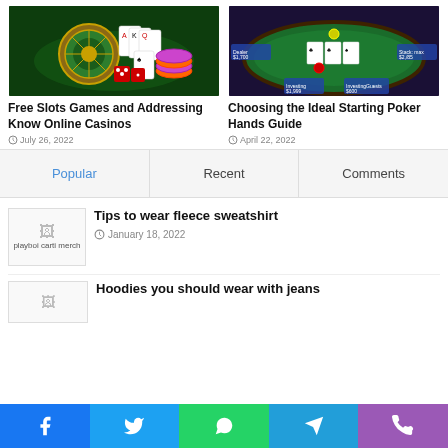[Figure (photo): Casino image with roulette wheel, playing cards, and poker chips on green background]
Free Slots Games and Addressing Know Online Casinos
July 26, 2022
[Figure (screenshot): Online poker game screenshot showing poker table with cards and player chips]
Choosing the Ideal Starting Poker Hands Guide
April 22, 2022
Popular
Recent
Comments
[Figure (photo): Broken image placeholder for playboi carti merch]
Tips to wear fleece sweatshirt
January 18, 2022
[Figure (photo): Broken image placeholder for second article]
Hoodies you should wear with jeans